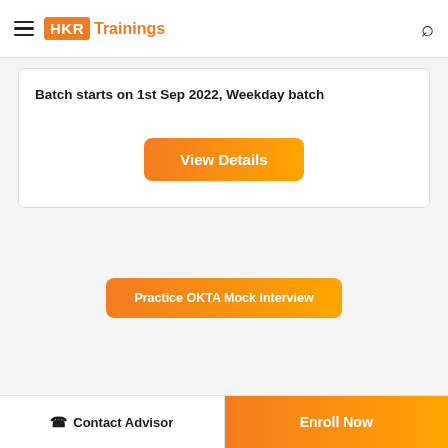HKR Trainings
Batch starts on 1st Sep 2022, Weekday batch
View Details
Practice OKTA Mock Interview
Contact Advisor
Enroll Now